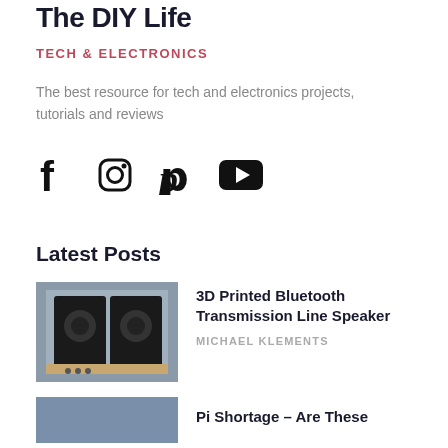The DIY Life
TECH & ELECTRONICS
The best resource for tech and electronics projects, tutorials and reviews
[Figure (illustration): Social media icons: Facebook, Instagram, Pinterest, YouTube]
Latest Posts
[Figure (photo): 3D printed Bluetooth transmission line speaker — a black square speaker enclosure on a wooden surface]
3D Printed Bluetooth Transmission Line Speaker
MICHAEL KLEMENTS
[Figure (photo): Blue/grey placeholder image for Pi Shortage article]
Pi Shortage – Are These